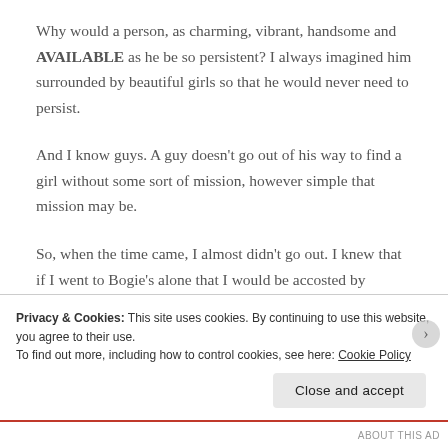Why would a person, as charming, vibrant, handsome and AVAILABLE as he be so persistent? I always imagined him surrounded by beautiful girls so that he would never need to persist.
And I know guys. A guy doesn't go out of his way to find a girl without some sort of mission, however simple that mission may be.
So, when the time came, I almost didn't go out. I knew that if I went to Bogie's alone that I would be accosted by numerous, unrelenting old divorced (or MARRIED)...
Privacy & Cookies: This site uses cookies. By continuing to use this website, you agree to their use.
To find out more, including how to control cookies, see here: Cookie Policy
Close and accept